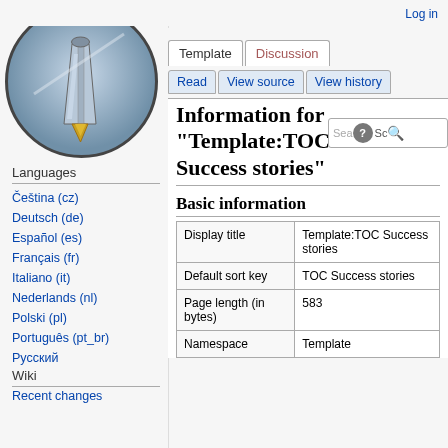[Figure (logo): Wikipedia-style wiki logo: circular icon with a fountain pen on a blue/grey gradient background]
Languages
Čeština (cz)
Deutsch (de)
Español (es)
Français (fr)
Italiano (it)
Nederlands (nl)
Polski (pl)
Português (pt_br)
Русский
Wiki
Recent changes
Log in
Information for "Template:TOC Success stories"
Basic information
|  |  |
| --- | --- |
| Display title | Template:TOC Success stories |
| Default sort key | TOC Success stories |
| Page length (in bytes) | 583 |
| Namespace | Template |